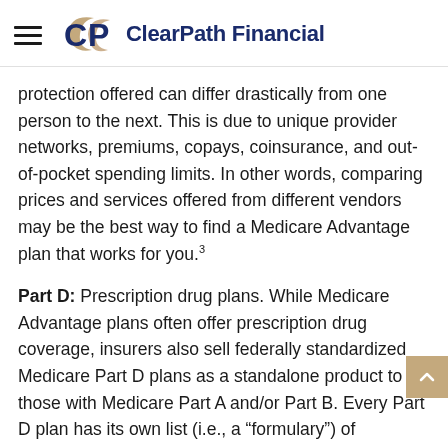ClearPath Financial
protection offered can differ drastically from one person to the next. This is due to unique provider networks, premiums, copays, coinsurance, and out-of-pocket spending limits. In other words, comparing prices and services offered from different vendors may be the best way to find a Medicare Advantage plan that works for you.3
Part D: Prescription drug plans. While Medicare Advantage plans often offer prescription drug coverage, insurers also sell federally standardized Medicare Part D plans as a standalone product to those with Medicare Part A and/or Part B. Every Part D plan has its own list (i.e., a “formulary”) of